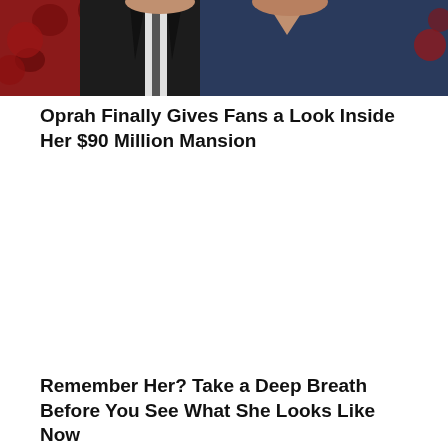[Figure (photo): Cropped photo showing two people at what appears to be a red carpet event. One person is wearing a dark suit, the other is wearing a navy dress. Background shows red floral decoration.]
Oprah Finally Gives Fans a Look Inside Her $90 Million Mansion
Remember Her? Take a Deep Breath Before You See What She Looks Like Now